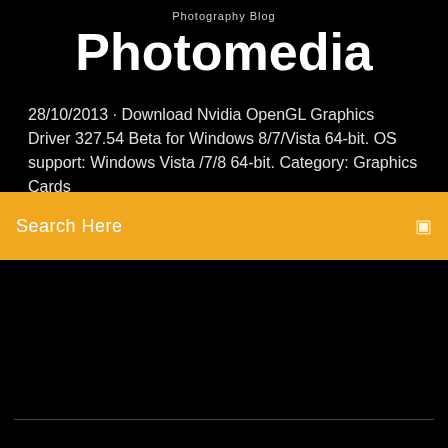Photography Blog
Photomedia
28/10/2013 · Download Nvidia OpenGL Graphics Driver 327.54 Beta for Windows 8/7/Vista 64-bit. OS support: Windows Vista /7/8 64-bit. Category: Graphics Cards
Search Here
[Figure (illustration): Three social media icon circles: Facebook (dark blue), Twitter (light blue), Instagram (cyan-blue)]
Resident Evil 5 Pc Highly Compressed
Logiciel Enregistrement Video Webcam Gratuit
Baldis Basics Jeux Gratuit En Ligne
Convertir Wmv En Avi Vlc